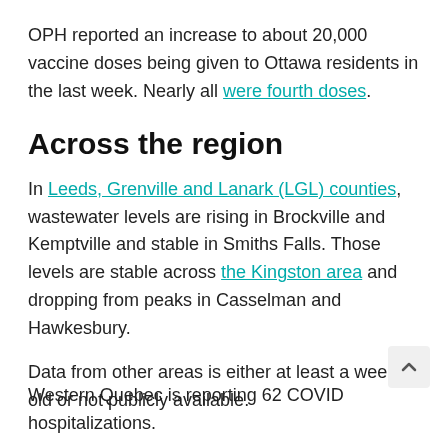OPH reported an increase to about 20,000 vaccine doses being given to Ottawa residents in the last week. Nearly all were fourth doses.
Across the region
In Leeds, Grenville and Lanark (LGL) counties, wastewater levels are rising in Brockville and Kemptville and stable in Smiths Falls. Those levels are stable across the Kingston area and dropping from peaks in Casselman and Hawkesbury.
Data from other areas is either at least a week old or not publicly available.
Western Quebec is reporting 62 COVID hospitalizations.